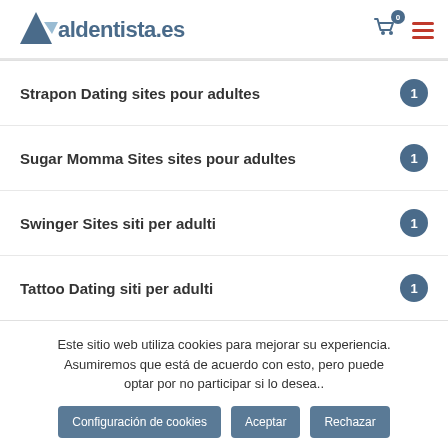aldentista.es
Strapon Dating sites pour adultes  1
Sugar Momma Sites sites pour adultes  1
Swinger Sites siti per adulti  1
Tattoo Dating siti per adulti  1
Este sitio web utiliza cookies para mejorar su experiencia. Asumiremos que está de acuerdo con esto, pero puede optar por no participar si lo desea..
Configuración de cookies  Aceptar  Rechazar
Leer más